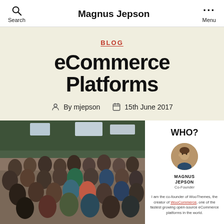Search  Magnus Jepson  Menu
BLOG
eCommerce Platforms
By mjepson  15th June 2017
[Figure (photo): Large group photo of many people standing outdoors in front of trees]
WHO? MAGNUS JEPSON Co-Founder I am the co-founder of WooThemes, the creators of WooCommerce, one of the fastest growing open-source eCommerce platforms in the world.